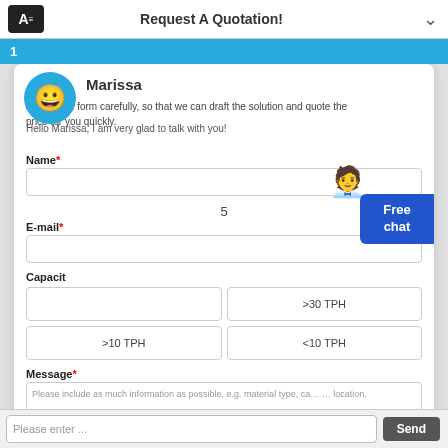Request A Quotation!
1
Marissa
PLS fill the form carefully, so that we can draft the solution and quote the price for you quickly.
Hello Marissa, I am very glad to talk with you!
Name*
E-mail*
5
Capacit
>30 TPH
>10 TPH
<10 TPH
Message*
Please include as much information as possible, e.g. material type, capacity, products size and location.
Please enter ...
Send
Free chat